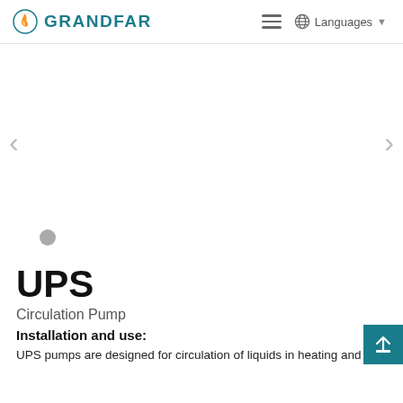GRANDFAR — Languages
[Figure (photo): Product image slider area for UPS Circulation Pump, currently showing a blank/white slide with navigation arrows and a dot indicator]
UPS
Circulation Pump
Installation and use:
UPS pumps are designed for circulation of liquids in heating and air-